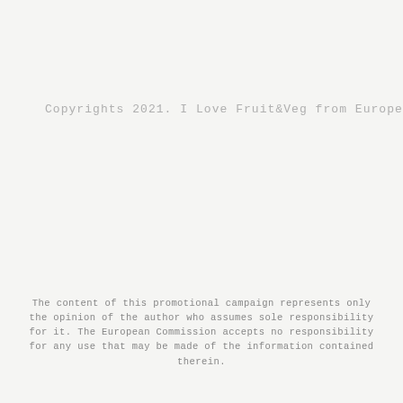Copyrights 2021. I Love Fruit&Veg from Europe
The content of this promotional campaign represents only the opinion of the author who assumes sole responsibility for it. The European Commission accepts no responsibility for any use that may be made of the information contained therein.